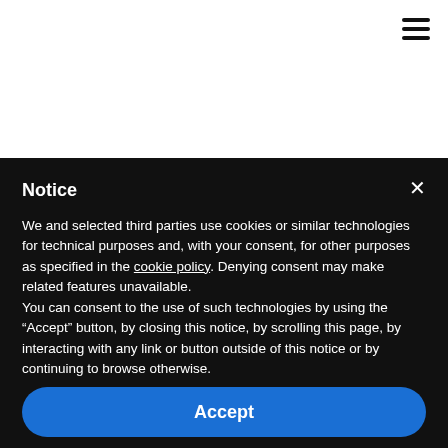[Figure (screenshot): Top white navigation area of a website with a hamburger menu icon in the top right corner]
Notice
We and selected third parties use cookies or similar technologies for technical purposes and, with your consent, for other purposes as specified in the cookie policy. Denying consent may make related features unavailable.
You can consent to the use of such technologies by using the "Accept" button, by closing this notice, by scrolling this page, by interacting with any link or button outside of this notice or by continuing to browse otherwise.
Accept